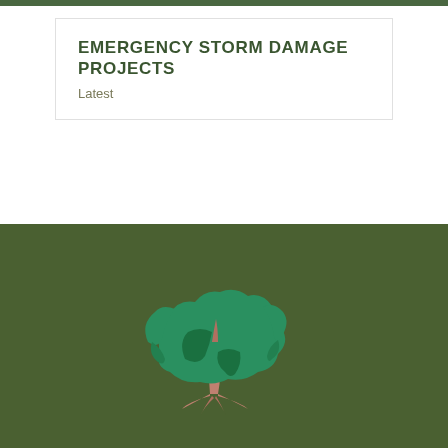EMERGENCY STORM DAMAGE PROJECTS
Latest
[Figure (illustration): A stylized illustration of a tree with a green canopy and brown trunk on a dark olive green background, used as a company logo or decorative element.]